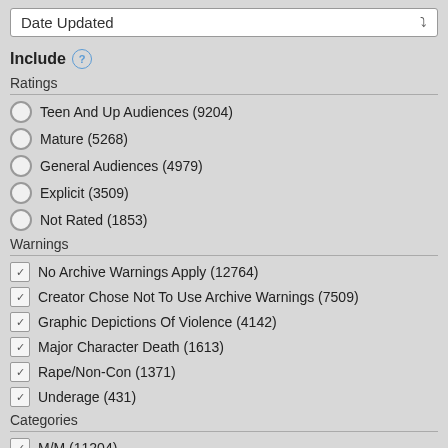Date Updated
Include
Ratings
Teen And Up Audiences (9204)
Mature (5268)
General Audiences (4979)
Explicit (3509)
Not Rated (1853)
Warnings
No Archive Warnings Apply (12764)
Creator Chose Not To Use Archive Warnings (7509)
Graphic Depictions Of Violence (4142)
Major Character Death (1613)
Rape/Non-Con (1371)
Underage (431)
Categories
M/M (11204)
F/M (7227)